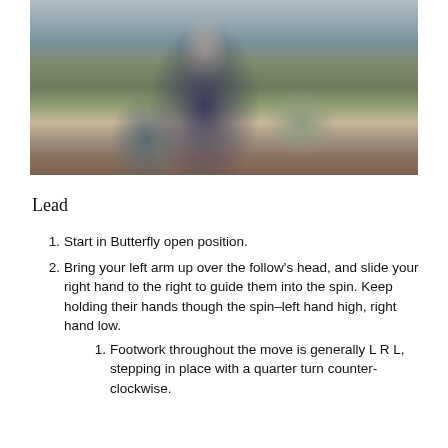[Figure (photo): A person standing outdoors holding something, with stone steps, paved tiles, and green shrubbery in the background.]
Lead
1. Start in Butterfly open position.
2. Bring your left arm up over the follow's head, and slide your right hand to the right to guide them into the spin. Keep holding their hands though the spin–left hand high, right hand low.
1. Footwork throughout the move is generally L R L, stepping in place with a quarter turn counter-clockwise.